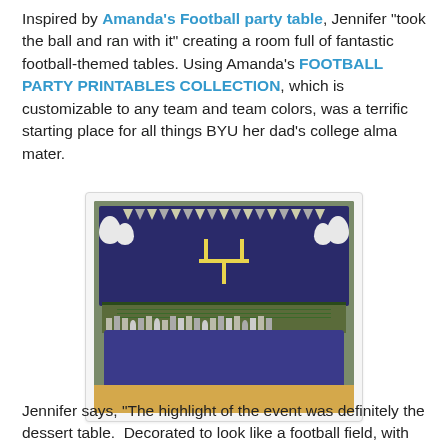Inspired by Amanda's Football party table, Jennifer "took the ball and ran with it" creating a room full of fantastic football-themed tables. Using Amanda's FOOTBALL PARTY PRINTABLES COLLECTION, which is customizable to any team and team colors, was a terrific starting place for all things BYU her dad's college alma mater.
[Figure (photo): A BYU football-themed party table decorated with blue tablecloth, football field green tabletop, banner pennants, yellow goalpost, white balloons with Y logos, and various party treats and decorations on the table. Background shows a dark blue fabric backdrop and sage green walls.]
Jennifer says, "The highlight of the event was definitely the dessert table.  Decorated to look like a football field, with